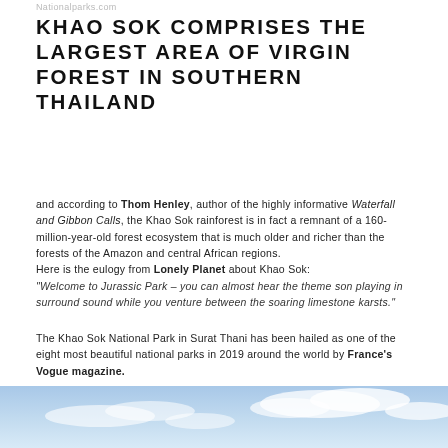Nationalparks.com
KHAO SOK COMPRISES THE LARGEST AREA OF VIRGIN FOREST IN SOUTHERN THAILAND
and according to Thom Henley, author of the highly informative Waterfall and Gibbon Calls, the Khao Sok rainforest is in fact a remnant of a 160-million-year-old forest ecosystem that is much older and richer than the forests of the Amazon and central African regions.
Here is the eulogy from Lonely Planet about Khao Sok:
"Welcome to Jurassic Park – you can almost hear the theme son playing in surround sound while you venture between the soaring limestone karsts."
The Khao Sok National Park in Surat Thani has been hailed as one of the eight most beautiful national parks in 2019 around the world by France's Vogue magazine.
"The jewel of Thailand lies between Phuket and Surat Thani … Spread over 740 km2 and fully covered with lush rainforest, the Khao Sok National Park is a must-see in Asia."
[Figure (photo): Sky with clouds — top portion of a landscape photo of Khao Sok National Park]